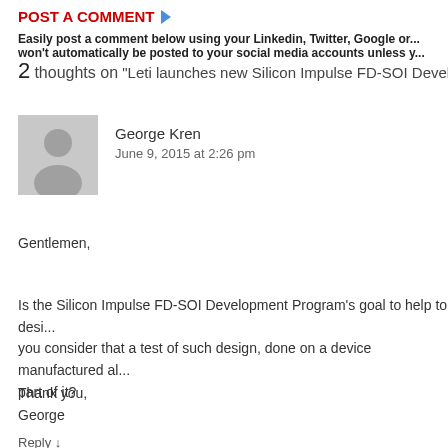POST A COMMENT
Easily post a comment below using your Linkedin, Twitter, Google or... won't automatically be posted to your social media accounts unless y...
2 thoughts on "Leti launches new Silicon Impulse FD-SOI Development..."
George Kren
June 9, 2015 at 2:26 pm
Gentlemen,
Is the Silicon Impulse FD-SOI Development Program's goal to help to desi... you consider that a test of such design, done on a device manufactured al... part of it?
Thank you,
George
Reply ↓